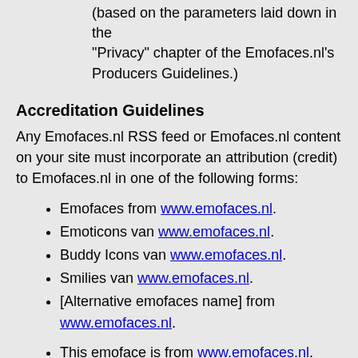(based on the parameters laid down in the "Privacy" chapter of the Emofaces.nl's Producers Guidelines.)
Accreditation Guidelines
Any Emofaces.nl RSS feed or Emofaces.nl content on your site must incorporate an attribution (credit) to Emofaces.nl in one of the following forms:
Emofaces from www.emofaces.nl.
Emoticons van www.emofaces.nl.
Buddy Icons van www.emofaces.nl.
Smilies van www.emofaces.nl.
[Alternative emofaces name] from www.emofaces.nl.
This emoface is from www.emofaces.nl.
This emoticon is from www.emofaces.nl.
This buddy icon is from www.emofaces.nl.
This smile is from www.emofaces.nl.
This [Alternative emoface name] is from www.emofaces.nl.
An alternative emoface name may be used if